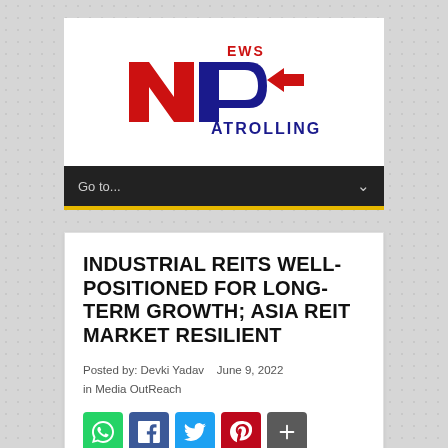[Figure (logo): News Patrolling logo with red NP letters and blue text]
Go to...
INDUSTRIAL REITS WELL-POSITIONED FOR LONG-TERM GROWTH; ASIA REIT MARKET RESILIENT
Posted by: Devki Yadav   June 9, 2022
in Media OutReach
[Figure (infographic): Social share icons: WhatsApp, Facebook, Twitter, Pinterest, Share]